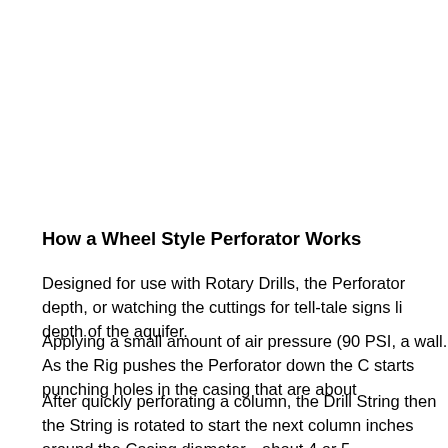How a Wheel Style Perforator Works
Designed for use with Rotary Drills, the Perforator depth, or watching the cuttings for tell-tale signs li depth of the aquifer.
Applying a small amount of air pressure (90 PSI, a wall. As the Rig pushes the Perforator down the C starts punching holes in the casing that are about
After quickly perforating a column, the Drill String then the String is rotated to start the next column inches around the Casing diameter—about 4 or 5